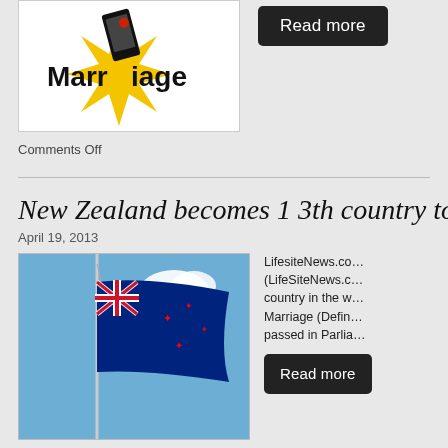[Figure (illustration): Marriage illustration with yellow starburst and text 'Marriage' with smartphone]
[Figure (other): Read more button (dark/black rounded rectangle)]
Comments Off
New Zealand becomes 13th country to leg…
April 19, 2013
[Figure (photo): New Zealand flag on a flagpole against a blue sky with clouds]
LifesiteNews.co… (LifeSiteNews.c… country in the w… Marriage (Defin… passed in Parlia…
[Figure (other): Read more button (dark/black rounded rectangle)]